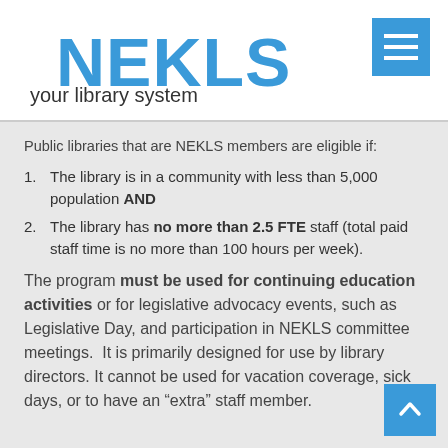[Figure (logo): NEKLS your library system logo with blue text and hamburger menu button]
Public libraries that are NEKLS members are eligible if:
The library is in a community with less than 5,000 population AND
The library has no more than 2.5 FTE staff (total paid staff time is no more than 100 hours per week).
The program must be used for continuing education activities or for legislative advocacy events, such as Legislative Day, and participation in NEKLS committee meetings. It is primarily designed for use by library directors. It cannot be used for vacation coverage, sick days, or to have an “extra” staff member.